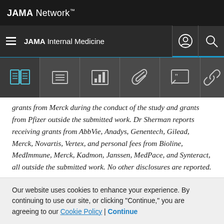JAMA Network
JAMA Internal Medicine
grants from Merck during the conduct of the study and grants from Pfizer outside the submitted work. Dr Sherman reports receiving grants from AbbVie, Anadys, Genentech, Gilead, Merck, Novartis, Vertex, and personal fees from Bioline, MedImmune, Merck, Kadmon, Janssen, MedPace, and Synteract, all outside the submitted work. No other disclosures are reported.
Funding/Support: Dr Justice's time was supported by
Our website uses cookies to enhance your experience. By continuing to use our site, or clicking "Continue," you are agreeing to our Cookie Policy | Continue